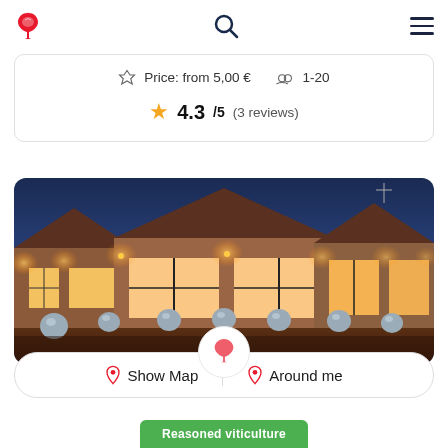Navigation bar with logo, search, and menu icons
Price: from 5,00 €   1-20
4.3/5 (3 reviews)
[Figure (photo): Night photo of a modern winery / estate building with warm interior lights, multiple gabled roofs, spherical decorative balls on the driveway, twilight blue sky]
Show Map   Around me
Reasoned viticulture